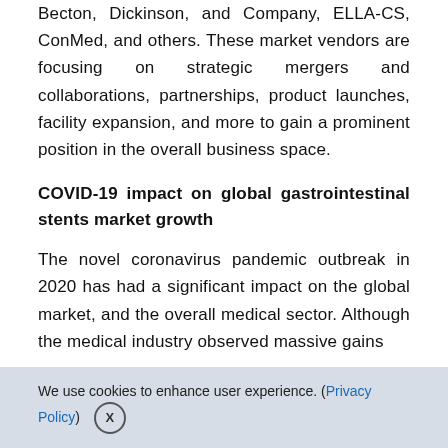Becton, Dickinson, and Company, ELLA-CS, ConMed, and others. These market vendors are focusing on strategic mergers and collaborations, partnerships, product launches, facility expansion, and more to gain a prominent position in the overall business space.
COVID-19 impact on global gastrointestinal stents market growth
The novel coronavirus pandemic outbreak in 2020 has had a significant impact on the global market, and the overall medical sector. Although the medical industry observed massive gains
We use cookies to enhance user experience. (Privacy Policy) X